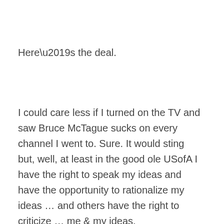Here’s the deal.
I could care less if I turned on the TV and saw Bruce McTague sucks on every channel I went to. Sure. It would sting but, well, at least in the good ole USofA I have the right to speak my ideas and have the opportunity to rationalize my ideas … and others have the right to criticize … me & my ideas.